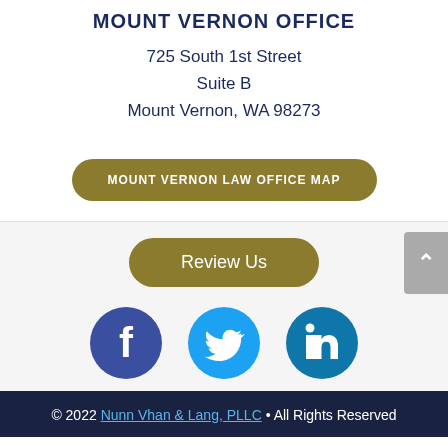MOUNT VERNON OFFICE
725 South 1st Street
Suite B
Mount Vernon, WA 98273
MOUNT VERNON LAW OFFICE MAP
Review Us
[Figure (illustration): Social media icons: Facebook (blue circle with F), Twitter (cyan circle with bird), LinkedIn (teal circle with in)]
© 2022 Nunn Vhan & Lang, PLLC • All Rights Reserved